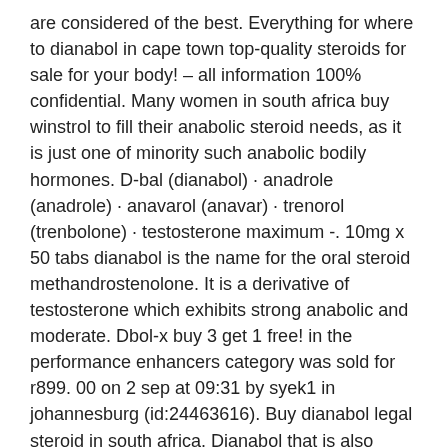are considered of the best. Everything for where to dianabol in cape town top-quality steroids for sale for your body! – all information 100% confidential. Many women in south africa buy winstrol to fill their anabolic steroid needs, as it is just one of minority such anabolic bodily hormones. D-bal (dianabol) · anadrole (anadrole) · anavarol (anavar) · trenorol (trenbolone) · testosterone maximum -. 10mg x 50 tabs dianabol is the name for the oral steroid methandrostenolone. It is a derivative of testosterone which exhibits strong anabolic and moderate. Dbol-x buy 3 get 1 free! in the performance enhancers category was sold for r899. 00 on 2 sep at 09:31 by syek1 in johannesburg (id:24463616). Buy dianabol legal steroid in south africa. Dianabol that is also known as d-bol is the most effective formula on the market and is a staff personal. Strength muscle gain fat/water loss side effects: testosterone drops